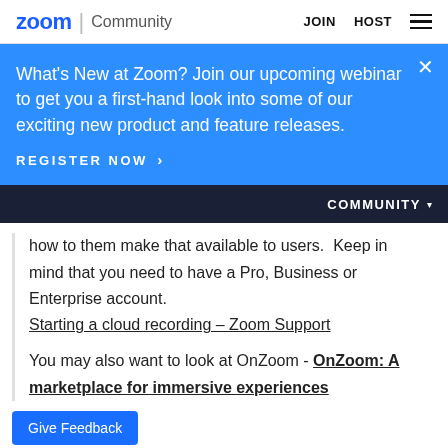zoom | Community   JOIN   HOST
What's New at Zoom? Join our upcoming webinar to get you a first-hand look into some of our exciting new product and feature releases.
REGISTER NOW >
COMMUNITY ▾
how to them make that available to users.  Keep in mind that you need to have a Pro, Business or Enterprise account.
Starting a cloud recording – Zoom Support
You may also want to look at OnZoom - OnZoom: A marketplace for immersive experiences
Give Feedback